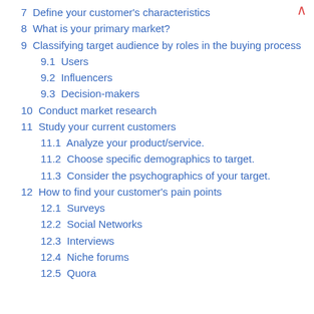7  Define your customer's characteristics
8  What is your primary market?
9  Classifying target audience by roles in the buying process
9.1  Users
9.2  Influencers
9.3  Decision-makers
10  Conduct market research
11  Study your current customers
11.1  Analyze your product/service.
11.2  Choose specific demographics to target.
11.3  Consider the psychographics of your target.
12  How to find your customer's pain points
12.1  Surveys
12.2  Social Networks
12.3  Interviews
12.4  Niche forums
12.5  Quora